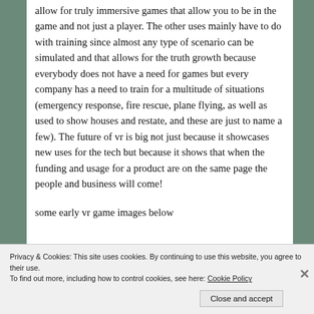allow for truly immersive games that allow you to be in the game and not just a player. The other uses mainly have to do with training since almost any type of scenario can be simulated and that allows for the truth growth because everybody does not have a need for games but every company has a need to train for a multitude of situations (emergency response, fire rescue, plane flying, as well as used to show houses and restate, and these are just to name a few). The future of vr is big not just because it showcases new uses for the tech but because it shows that when the funding and usage for a product are on the same page the people and business will come!
some early vr game images below
Privacy & Cookies: This site uses cookies. By continuing to use this website, you agree to their use.
To find out more, including how to control cookies, see here: Cookie Policy